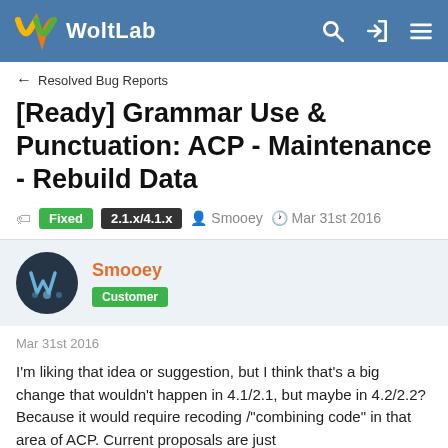WoltLab
← Resolved Bug Reports
[Ready] Grammar Use & Punctuation: ACP - Maintenance - Rebuild Data
Fixed  2.1.x/4.1.x  Smooey  Mar 31st 2016
Smooey
Customer
Mar 31st 2016
I'm liking that idea or suggestion, but I think that's a big change that wouldn't happen in 4.1/2.1, but maybe in 4.2/2.2? Because it would require recoding /"combining code" in that area of ACP. Current proposals are just